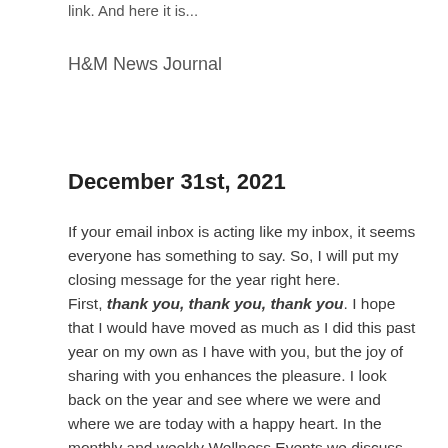link. And here it is...
H&M News Journal
December 31st, 2021
If your email inbox is acting like my inbox, it seems everyone has something to say. So, I will put my closing message for the year right here. First, thank you, thank you, thank you. I hope that I would have moved as much as I did this past year on my own as I have with you, but the joy of sharing with you enhances the pleasure. I look back on the year and see where we were and where we are today with a happy heart. In the monthly and weekly Wellness Events we discuss motivation and inspiration, what keeps us moving. The one way to keep moving is to know that tomorrow never